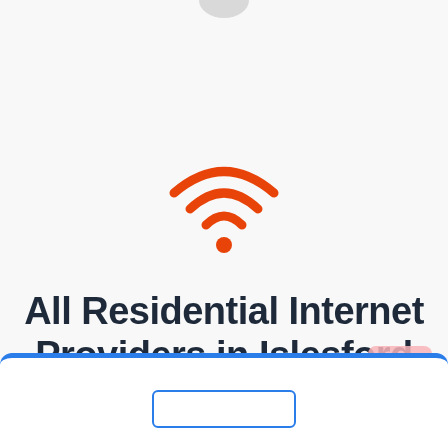[Figure (illustration): WiFi signal icon in orange with three curved arcs and a dot at the bottom center]
All Residential Internet Providers in Islesford